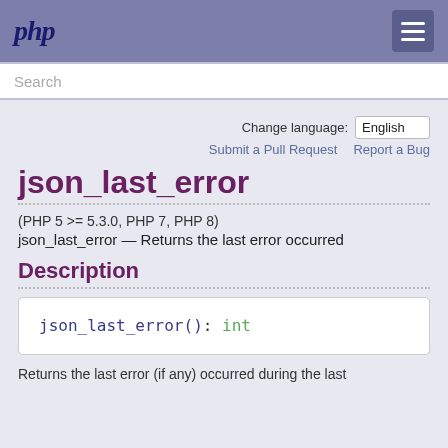php
Search
Change language: English
Submit a Pull Request   Report a Bug
json_last_error
(PHP 5 >= 5.3.0, PHP 7, PHP 8)
json_last_error — Returns the last error occurred
Description
Returns the last error (if any) occurred during the last